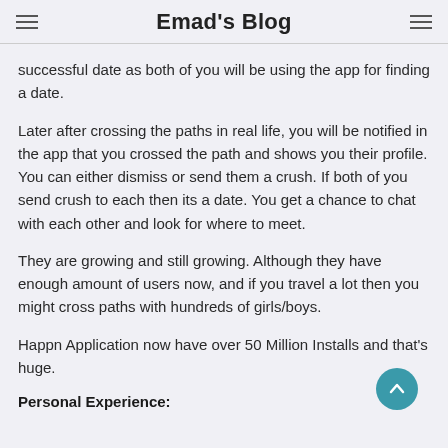Emad's Blog
successful date as both of you will be using the app for finding a date.
Later after crossing the paths in real life, you will be notified in the app that you crossed the path and shows you their profile. You can either dismiss or send them a crush. If both of you send crush to each then its a date. You get a chance to chat with each other and look for where to meet.
They are growing and still growing. Although they have enough amount of users now, and if you travel a lot then you might cross paths with hundreds of girls/boys.
Happn Application now have over 50 Million Installs and that's huge.
Personal Experience: